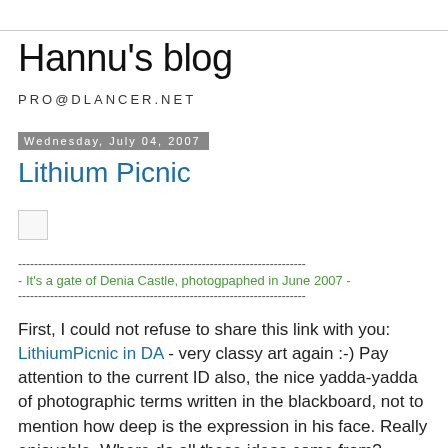Hannu's blog
PRO@DLANCER.NET
Wednesday, July 04, 2007
Lithium Picnic
[Figure (photo): Small image placeholder (broken/not loaded image icon)]
------------------------------------------------------------------------
- It's a gate of Denia Castle, photogpaphed in June 2007 -
------------------------------------------------------------------------
First, I could not refuse to share this link with you: LithiumPicnic in DA - very classy art again :-) Pay attention to the current ID also, the nice yadda-yadda of photographic terms written in the blackboard, not to mention how deep is the expression in his face. Really enjoyable. Where do all these ideas come from? Admirable. I also like the name